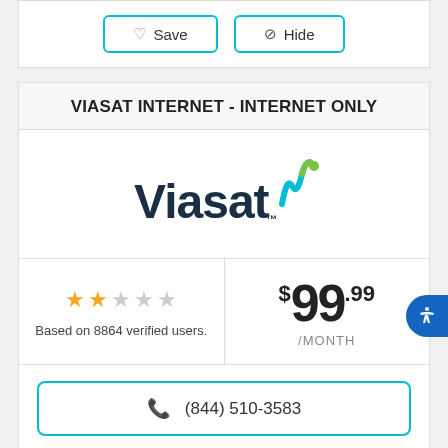Save | Hide
VIASAT INTERNET - INTERNET ONLY
[Figure (logo): Viasat logo with stylized signal wave graphic in teal and green]
Based on 8864 verified users.
$99.99 /MONTH
(844) 510-3583
100% AVAILABILITY
Overview: